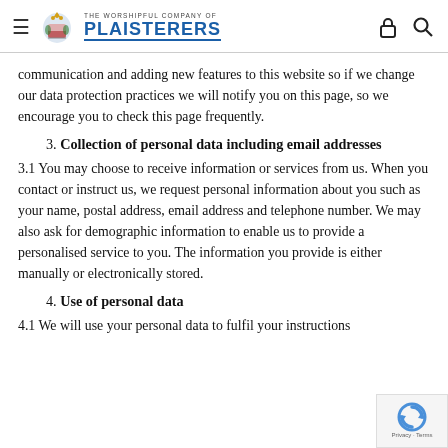THE WORSHIPFUL COMPANY OF PLAISTERERS
communication and adding new features to this website so if we change our data protection practices we will notify you on this page, so we encourage you to check this page frequently.
3. Collection of personal data including email addresses
3.1 You may choose to receive information or services from us. When you contact or instruct us, we request personal information about you such as your name, postal address, email address and telephone number. We may also ask for demographic information to enable us to provide a personalised service to you. The information you provide is either manually or electronically stored.
4. Use of personal data
4.1 We will use your personal data to fulfil your instructions